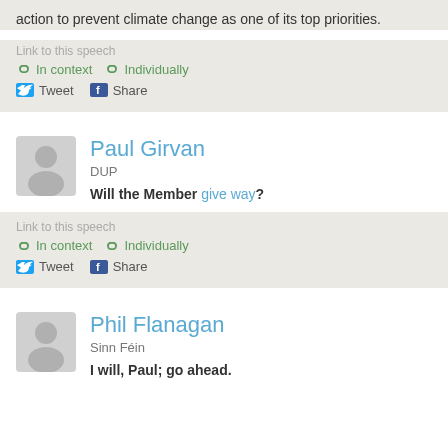action to prevent climate change as one of its top priorities.
Link to this speech
In context   Individually
Tweet   Share
Paul Girvan
DUP
Will the Member give way?
Link to this speech
In context   Individually
Tweet   Share
Phil Flanagan
Sinn Féin
I will, Paul; go ahead.